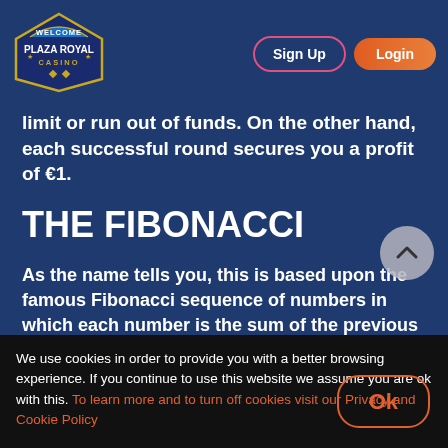Plaza Royal Casino — Sign Up | Login
limit or run out of funds. On the other hand, each successful round secures you a profit of €1.
THE FIBONACCI
As the name tells you, this is based upon the famous Fibonacci sequence of numbers in which each number is the sum of the previous two (1-1-2-3-5-8…). You simply bet the number of units as dictated by the sequence. If you lose you move on to the next number. When you win, rather than returning to the beginning of the sequence, you
We use cookies in order to provide you with a better browsing experience. If you continue to use this website we assume you are ok with this. To learn more and to turn off cookies visit our Privacy and Cookie Policy